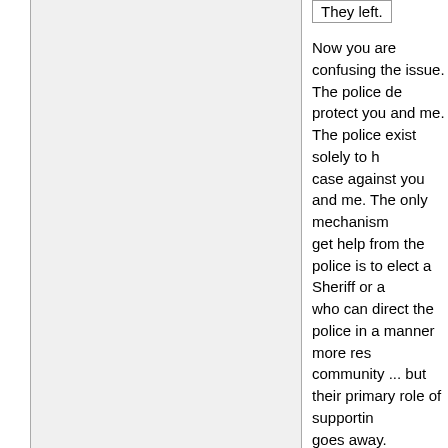They left.
Now you are confusing the issue. The police de... protect you and me. The police exist solely to h... case against you and me. The only mechanism... get help from the police is to elect a Sheriff or a... who can direct the police in a manner more res... community ... but their primary role of supportin... goes away.
James___ wrote: We should get rid of the... department. Even the local health inspecto...
Once you derail a discussion with a "zero taxes... really get on a roll. He never advocated zero ta... your red herring.
James___ wrote: If you don't shop or eat s... pay the government to make sure they're n... people sick?
We could. Human societies thrived for millenia... governments dictating how businesses are to p... and services. Yes, humanity literally survived w... telling businesses like Wendy's what their doub... should be or how much they are to charge for i...